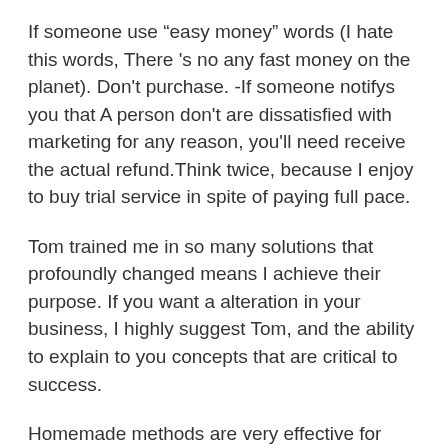If someone use “easy money” words (I hate this words, There 's no any fast money on the planet). Don't purchase. -If someone notifys you that A person don't are dissatisfied with marketing for any reason, you'll need receive the actual refund.Think twice, because I enjoy to buy trial service in spite of paying full pace.
Tom trained me in so many solutions that profoundly changed means I achieve their purpose. If you want a alteration in your business, I highly suggest Tom, and the ability to explain to you concepts that are critical to success.
Homemade methods are very effective for stretchmarks. One example is the mixture of